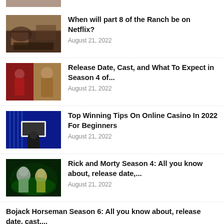[Figure (photo): Partial thumbnail at top of page, cropped]
When will part 8 of the Ranch be on Netflix?
August 21, 2022
Release Date, Cast, and What To Expect in Season 4 of...
August 21, 2022
Top Winning Tips On Online Casino In 2022 For Beginners
August 21, 2022
Rick and Morty Season 4: All you know about, release date,...
August 21, 2022
Bojack Horseman Season 6: All you know about, release date, cast,...